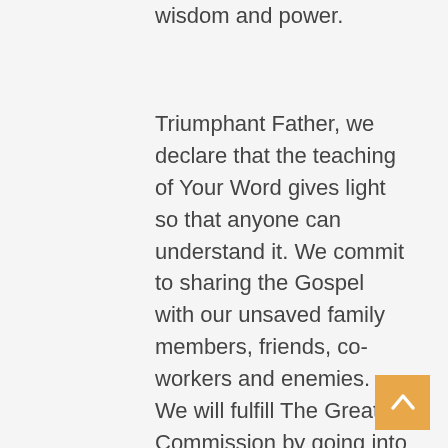wisdom and power.
Triumphant Father, we declare that the teaching of Your Word gives light so that anyone can understand it. We commit to sharing the Gospel with our unsaved family members, friends, co-workers and enemies. We will fulfill The Great Commission by going into all the world and preaching the Good News to everyone, without prejudice. We confess that as Your Word is preached throughout the world it will convict the hearts of the unsaved. As the Body of Christ, we are not ashamed to tell the Good News about Jesus Christ, for we know that it is the power of God at work, saving everyone who believes. We declare that as people confess